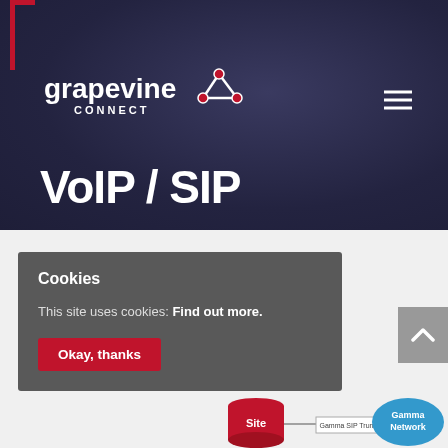[Figure (logo): Grapevine Connect logo — text with triangular network icon in red and white on dark background]
VoIP / SIP
Cookies
This site uses cookies: Find out more.
Okay, thanks
[Figure (infographic): Network diagram showing Site, Gamma SIP Trunks, and Gamma Network (partial, clipped at bottom of page)]